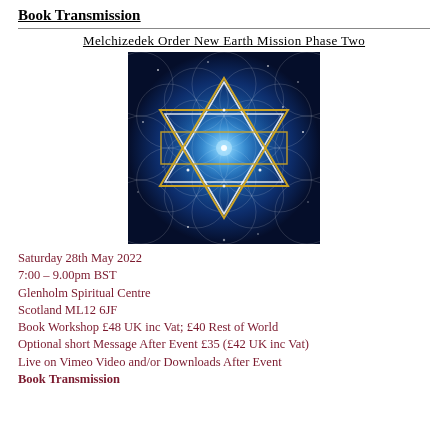Book Transmission
Melchizedek Order New Earth Mission Phase Two
[Figure (illustration): Mystical geometric image showing a Star of David / hexagram with triangles overlaid on a Flower of Life pattern against a deep blue starfield background. Two golden/yellow triangles form a Star of David, with white triangle outlines and overlapping circles in the Flower of Life pattern.]
Saturday 28th May 2022
7:00 – 9.00pm BST
Glenholm Spiritual Centre
Scotland ML12 6JF
Book Workshop £48 UK inc Vat; £40 Rest of World
Optional short Message After Event £35 (£42 UK inc Vat)
Live on Vimeo Video and/or Downloads After Event
Book Transmission